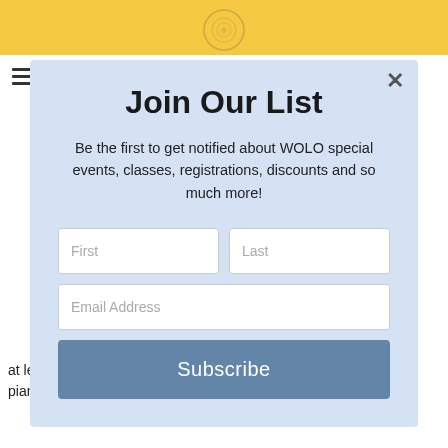[Figure (screenshot): Website background with yellow/gold header area and white content area with partially visible text about piano lessons. A hamburger menu icon is visible at top left and a decorative spiral logo at top center.]
Join Our List
Be the first to get notified about WOLO special events, classes, registrations, discounts and so much more!
First | Last | Email Address | Subscribe